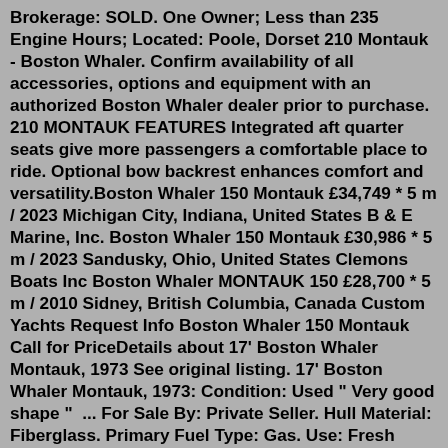Brokerage: SOLD. One Owner; Less than 235 Engine Hours; Located: Poole, Dorset 210 Montauk - Boston Whaler. Confirm availability of all accessories, options and equipment with an authorized Boston Whaler dealer prior to purchase. 210 MONTAUK FEATURES Integrated aft quarter seats give more passengers a comfortable place to ride. Optional bow backrest enhances comfort and versatility.Boston Whaler 150 Montauk £34,749 * 5 m / 2023 Michigan City, Indiana, United States B & E Marine, Inc. Boston Whaler 150 Montauk £30,986 * 5 m / 2023 Sandusky, Ohio, United States Clemons Boats Inc Boston Whaler MONTAUK 150 £28,700 * 5 m / 2010 Sidney, British Columbia, Canada Custom Yachts Request Info Boston Whaler 150 Montauk Call for PriceDetails about 17' Boston Whaler Montauk, 1973 See original listing. 17' Boston Whaler Montauk, 1973: Condition: Used " Very good shape " ... For Sale By: Private Seller. Hull Material: Fiberglass. Primary Fuel Type: Gas. Use: Fresh Water, Salt Water. Type: Open Bowrider. Hull/ID Number: